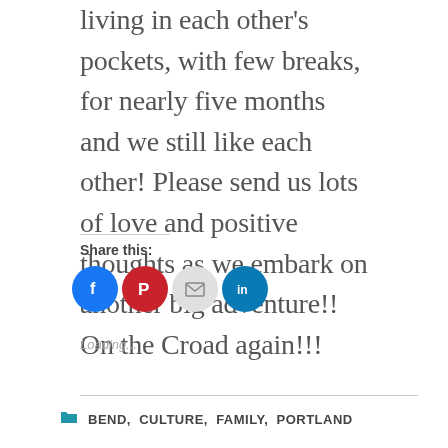living in each other's pockets, with few breaks, for nearly five months and we still like each other! Please send us lots of love and positive thoughts as we embark on another big adventure!! On the Croad again!!!
Share this:
[Figure (infographic): Four social share icon buttons: Facebook (blue circle with 'f'), Pinterest (red circle with 'P'), Email (gray circle with envelope), LinkedIn (teal circle with 'in')]
Loading...
BEND, CULTURE, FAMILY, PORTLAND